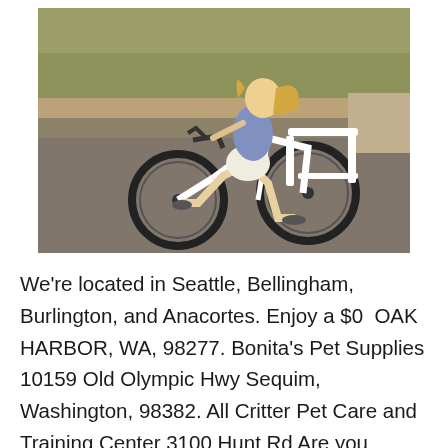[Figure (photo): A woman with blonde hair wearing a blue t-shirt and white ripped denim shorts riding a white electric bicycle on a road, with trees and a suburban background visible.]
We're located in Seattle, Bellingham, Burlington, and Anacortes. Enjoy a $0  OAK HARBOR, WA, 98277. Bonita's Pet Supplies 10159 Old Olympic Hwy Sequim, Washington, 98382. All Critter Pet Care and Training Center 3100 Hunt Rd Are you looking for the highest quality CBD products at affordable prices? Look no more, The CBD Gurus are now selling in Gig Harbor, WA! Our CBD oil. Welcome to Dream City Cannabis. Look